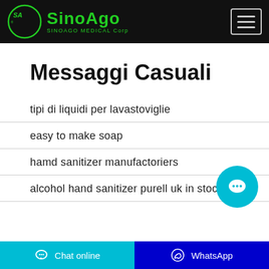SinoAgo SINOAGO MEDICAL Corp
Messaggi Casuali
tipi di liquidi per lavastoviglie
easy to make soap
hamd sanitizer manufactoriers
alcohol hand sanitizer purell uk in stock
Chat online    WhatsApp